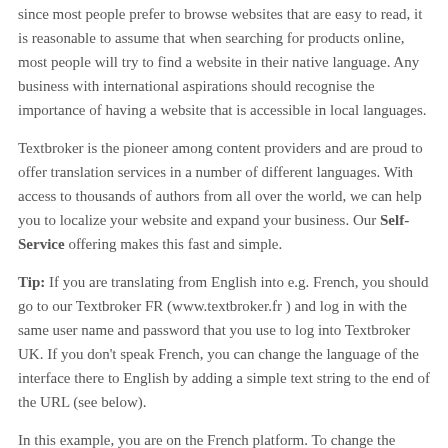since most people prefer to browse websites that are easy to read, it's reasonable to assume that when searching for products online, most people will try to find a website in their native language. Any business with international aspirations should recognise the importance of having a website that is accessible in local languages.
Textbroker is the pioneer among content providers and are proud to offer translation services in a number of different languages. With access to thousands of authors from all over the world, we can help you to localize your website and expand your business. Our Self-Service offering makes this fast and simple.
Tip: If you are translating from English into e.g. French, you should go to our Textbroker FR (www.textbroker.fr ) and log in with the same user name and password that you use to log into Textbroker UK. If you don't speak French, you can change the language of the interface there to English by adding a simple text string to the end of the URL (see below).
In this example, you are on the French platform. To change the interface to English, just follow these two easy steps.